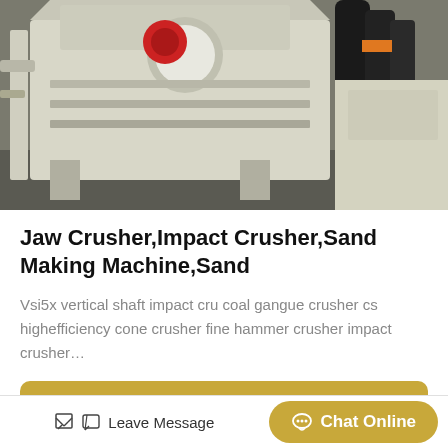[Figure (photo): Industrial jaw crusher / impact crusher machine in a factory setting — large white/cream colored crushing machine with a red circular component, metal frame, and black cylindrical components visible on the right side]
Jaw Crusher,Impact Crusher,Sand Making Machine,Sand
Vsi5x vertical shaft impact cru coal gangue crusher cs highefficiency cone crusher fine hammer crusher impact crusher…
Get Price
[Figure (photo): Industrial building exterior with machinery components — gray metal building with windows, wooden structural elements visible in foreground]
Leave Message
Chat Online